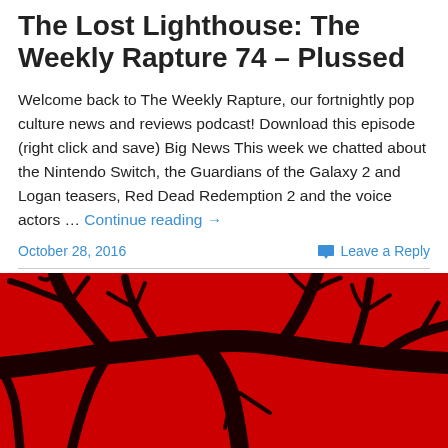The Lost Lighthouse: The Weekly Rapture 74 – Plussed
Welcome back to The Weekly Rapture, our fortnightly pop culture news and reviews podcast! Download this episode (right click and save) Big News This week we chatted about the Nintendo Switch, the Guardians of the Galaxy 2 and Logan teasers, Red Dead Redemption 2 and the voice actors … Continue reading →
October 28, 2016
Leave a Reply
[Figure (photo): Red-tinted photo of dark bare tree branches silhouetted against a bright red sky, viewed from below looking up.]